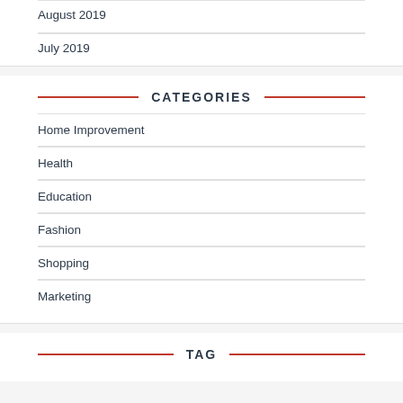August 2019
July 2019
CATEGORIES
Home Improvement
Health
Education
Fashion
Shopping
Marketing
TAG